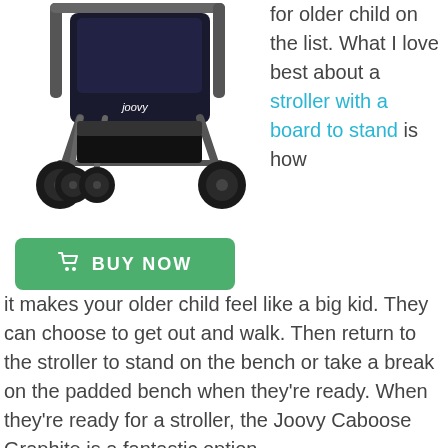[Figure (photo): Joovy Caboose Graphite stroller with black frame and large wheels, 'joovy' logo visible on the seat]
BUY NOW
for older child on the list. What I love best about a stroller with a board to stand is how it makes your older child feel like a big kid. They can choose to get out and walk. Then return to the stroller to stand on the bench or take a break on the padded bench when they're ready. When they're ready for a stroller, the Joovy Caboose Graphite is a fantastic option.